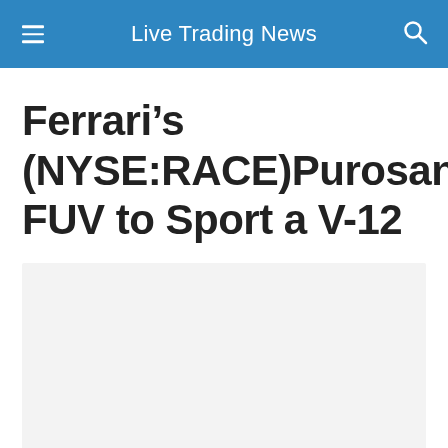Live Trading News
Ferrari’s (NYSE:RACE)Purosangue FUV to Sport a V-12
[Figure (photo): Placeholder image area for article photo]